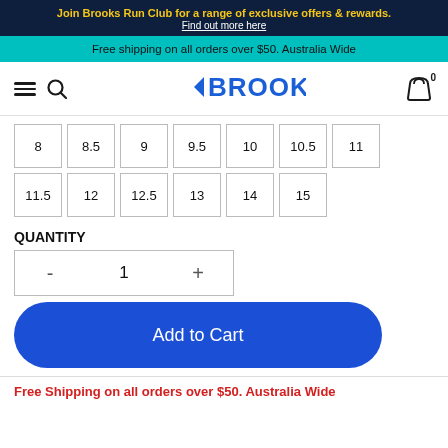Join Brooks Run Club for a range of exclusive offers & rewards. Find out more here
Free shipping on all orders over $50. Australia Wide
[Figure (logo): Brooks running brand navigation bar with hamburger menu, search icon, Brooks logo, and cart icon]
| 8 | 8.5 | 9 | 9.5 | 10 | 10.5 | 11 |
| 11.5 | 12 | 12.5 | 13 | 14 | 15 |  |
QUANTITY
- 1 +
Add to Cart
Free Shipping on all orders over $50. Australia Wide